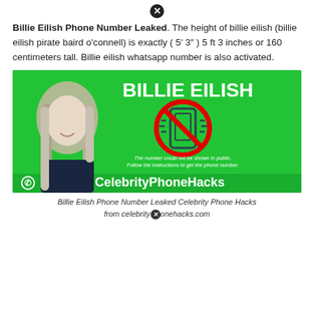Billie Eilish Phone Number Leaked. The height of billie eilish (billie eilish pirate baird o'connell) is exactly ( 5′ 3″ ) 5 ft 3 inches or 160 centimeters tall. Billie eilish whatsapp number is also activated.
[Figure (photo): Green promotional image for CelebrityPhoneHacks.com featuring Billie Eilish on the left side with long blonde hair, smiling, wearing a dark jacket. On the right side: white bold text 'BILLIE EILISH' at top, a red 'no phone' symbol (circle with diagonal line over phone icon), white italic text 'The number could not be shown in public. Follow the instructions to get the phone number.' At the bottom: white text '@CelebrityPhoneHacks' with WhatsApp logo.]
Billie Eilish Phone Number Leaked Celebrity Phone Hacks from celebrityphonehacks.com